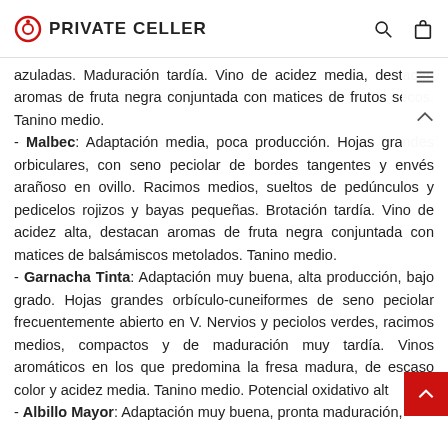PRIVATE CELLER
azuladas. Maduración tardía. Vino de acidez media, destacan aromas de fruta negra conjuntada con matices de frutos secos. Tanino medio.
- Malbec: Adaptación media, poca producción. Hojas grandes orbiculares, con seno peciolar de bordes tangentes y envés arañoso en ovillo. Racimos medios, sueltos de pedúnculos y pedicelos rojizos y bayas pequeñas. Brotación tardía. Vino de acidez alta, destacan aromas de fruta negra conjuntada con matices de balsámiscos metolados. Tanino medio.
- Garnacha Tinta: Adaptación muy buena, alta producción, bajo grado. Hojas grandes orbículo-cuneiformes de seno peciolar frecuentemente abierto en V. Nervios y peciolos verdes, racimos medios, compactos y de maduración muy tardía. Vinos aromáticos en los que predomina la fresa madura, de escaso color y acidez media. Tanino medio. Potencial oxidativo alto.
- Albillo Mayor: Adaptación muy buena, pronta maduración,